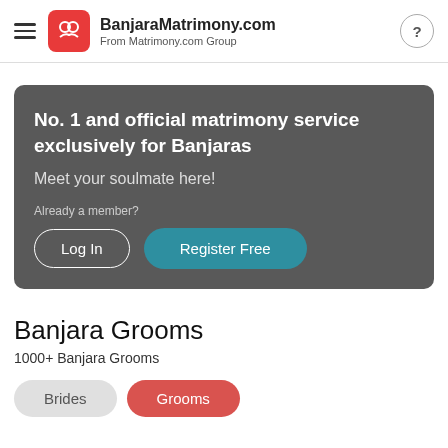BanjaraMatrimony.com From Matrimony.com Group
[Figure (screenshot): Dark grey banner with text: No. 1 and official matrimony service exclusively for Banjaras. Meet your soulmate here! Already a member? Log In | Register Free buttons]
Banjara Grooms
1000+ Banjara Grooms
Brides  Grooms